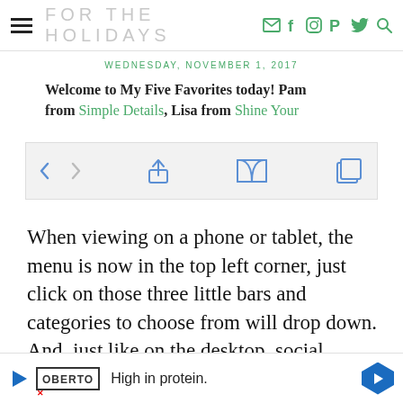FOR THE HOLIDAYS
WEDNESDAY, NOVEMBER 1, 2017
Welcome to My Five Favorites today!  Pam from Simple Details, Lisa from Shine Your
[Figure (screenshot): Browser toolbar with back/forward navigation arrows, share icon, reading list icon, and tabs icon on a light gray background]
When viewing on a phone or tablet, the menu is now in the top left corner, just click on those three little bars and categories to choose from will drop down.  And, just like on the desktop, social and search buttons are across the top. there
[Figure (screenshot): Advertisement bar at the bottom showing Oberto logo with play button and text 'High in protein.' with a blue diamond navigation button on the right]